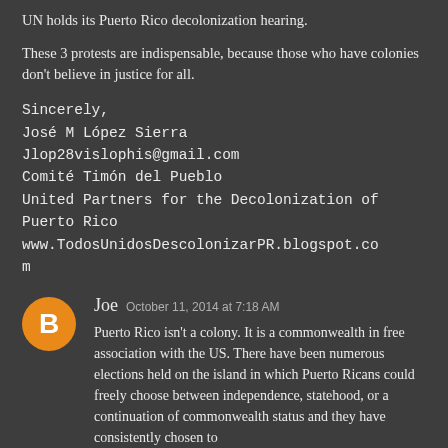UN holds its Puerto Rico decolonization hearing.
These 3 protests are indispensable, because those who have colonies don't believe in justice for all.
Sincerely,
José M López Sierra
Jlop28vislophis@gmail.com
Comité Timón del Pueblo
United Partners for the Decolonization of Puerto Rico
www.TodosUnidosDescolonizarPR.blogspot.com
Joe  October 11, 2014 at 7:18 AM

Puerto Rico isn't a colony. It is a commonwealth in free association with the US. There have been numerous elections held on the island in which Puerto Ricans could freely choose between independence, statehood, or a continuation of commonwealth status and they have consistently chosen to